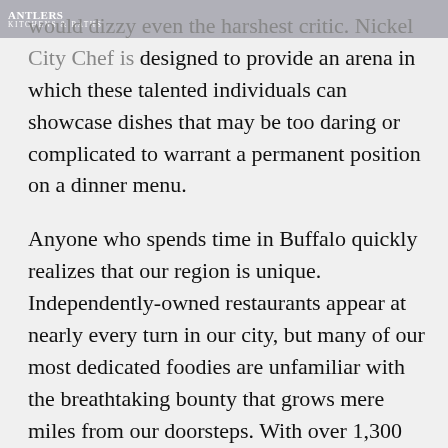ANTLERS KITCHENS & BATHS
would dizzy even the harshest critic. Nickel City Chef is designed to provide an arena in which these talented individuals can showcase dishes that may be too daring or complicated to warrant a permanent position on a dinner menu.
Anyone who spends time in Buffalo quickly realizes that our region is unique. Independently-owned restaurants appear at nearly every turn in our city, but many of our most dedicated foodies are unfamiliar with the breathtaking bounty that grows mere miles from our doorsteps. With over 1,300 farms in Erie County and more than 6,000 others in our region's other counties, we are a notable contributor to New York States's well-established annual yield of apples and milk. But what you may find surprising is that we also have farmers who